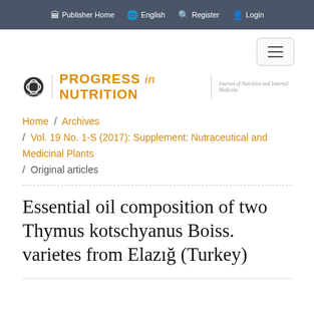Publisher Home  English  Register  Login
[Figure (logo): Mattioli 1885 publisher logo icon (small circular emblem)]
PROGRESS in NUTRITION — Journal of Nutrition and Internal Medicine
Home / Archives / Vol. 19 No. 1-S (2017): Supplement: Nutraceutical and Medicinal Plants / Original articles
Essential oil composition of two Thymus kotschyanus Boiss. varietes from Elazığ (Turkey)